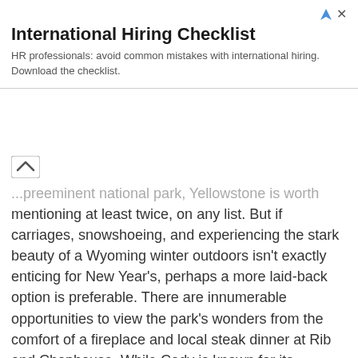[Figure (other): Advertisement banner: International Hiring Checklist. Contains ad icon (triangle with >) and close (x) button in top right. Title: 'International Hiring Checklist'. Body text: 'HR professionals: avoid common mistakes with international hiring. Download the checklist.']
...preeminent national park, Yellowstone is worth mentioning at least twice, on any list. But if carriages, snowshoeing, and experiencing the stark beauty of a Wyoming winter outdoors isn't exactly enticing for New Year's, perhaps a more laid-back option is preferable. There are innumerable opportunities to view the park's wonders from the comfort of a fireplace and local steak dinner at Rib and Chophouse. While Cody is known for its unabashed cowboy heritage, it's also a charming, approachable and welcoming community in which reflecting on the past year (and planning the upcoming) comes easily. Perhaps this ease is aided by crackling pine charring in the hearth, meat sizzling over open flame and the comforting burn of a stiff drink: all before the tinging of glasses. “Happy New Year!”